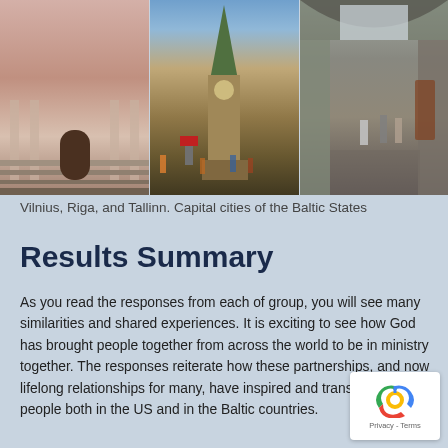[Figure (photo): Three side-by-side photos of Baltic capital cities: a baroque church facade in Vilnius, a church tower in Riga, and a medieval alley in Tallinn]
Vilnius, Riga, and Tallinn. Capital cities of the Baltic States
Results Summary
As you read the responses from each of group, you will see many similarities and shared experiences.  It is exciting to see how God has brought people together from across the world to be in ministry together.  The responses reiterate how these partnerships, and now lifelong relationships for many, have inspired and transformed people both in the US and in the Baltic countries.